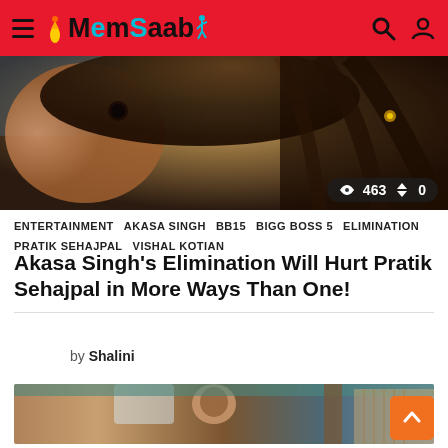MemSaab
[Figure (photo): Close-up photo of a woman with dark curly hair, partial face visible, video view count overlay showing 463 views and 0 shares]
ENTERTAINMENT   AKASA SINGH   BB15   BIGG BOSS 5   ELIMINATION   PRATIK SEHAJPAL   VISHAL KOTIAN
Akasa Singh's Elimination Will Hurt Pratik Sehajpal in More Ways Than One!
by Shalini
[Figure (photo): A young child sitting indoors, background showing a warm wooden/teal interior setting]